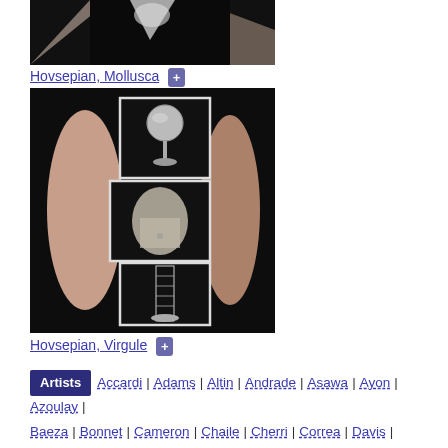[Figure (photo): Black background artwork photo - top portion cut off (Hovsepian, Mollusca)]
Hovsepian, Mollusca
[Figure (photo): Artwork photo showing abstract body sculpture with oval pink/orange shapes and framed panels against black background (Hovsepian, Virgule)]
Hovsepian, Virgule
Artists | Accardi | Adams | Altin | Andrade | Asawa | Ayon | Azoulay | Baeza | Bonnet | Cameron | Chaile | Cherri | Correa | Davis | Echakhch | Eshell | Euler | Eadoiutimi | Eantin | Feodoroff | Fritsch |